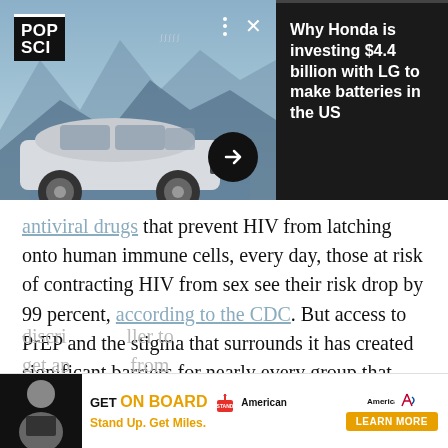[Figure (screenshot): Pop Sci advertisement banner showing a silver SUV (Honda) driving in a stylized winter landscape, with text 'Why Honda is investing $4.4 billion with LG to make batteries in the US' on a dark background to the right. Controls include three dots and an X button. Arrow button at bottom center.]
antiviral drugs that prevent HIV from latching onto human immune cells, every day, those at risk of contracting HIV from sex see their risk drop by 99 percent, according to the CDC. But access to PrEP and the stigma that surrounds it has created significant barriers for nearly every group that needs the drug, including teenagers. Adolescents, especially LGBTQ+ teens and those who face other forms of
[Figure (screenshot): Bottom advertisement banner: 'GET ON BOARD / Stand Up. Get Miles.' with Stand Up To Cancer and American Airlines logos, and an orange LEARN MORE button. Close (x) button at top right.]